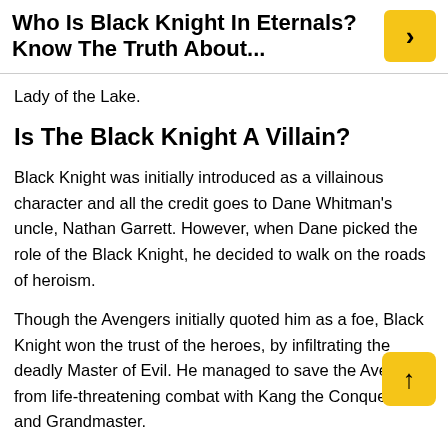Who Is Black Knight In Eternals? Know The Truth About...
Lady of the Lake.
Is The Black Knight A Villain?
Black Knight was initially introduced as a villainous character and all the credit goes to Dane Whitman's uncle, Nathan Garrett. However, when Dane picked the role of the Black Knight, he decided to walk on the roads of heroism.
Though the Avengers initially quoted him as a foe, Black Knight won the trust of the heroes, by infiltrating the deadly Master of Evil. He managed to save the Avengers from life-threatening combat with Kang the Conqueror and Grandmaster.
Supporting the team of Avengers and fighting with tons of